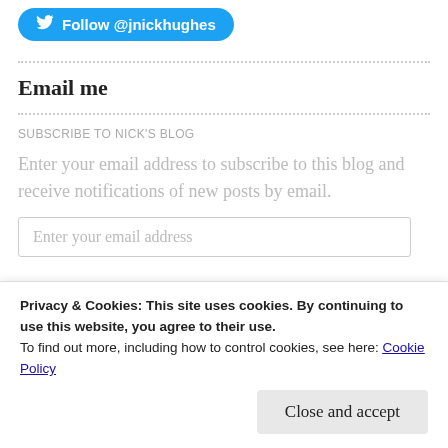[Figure (other): Twitter Follow button for @jnickhughes — rounded blue pill button with Twitter bird icon]
Email me
SUBSCRIBE TO NICK'S BLOG
Enter your email address to subscribe to this blog and receive notifications of new posts by email.
Enter your email address
Privacy & Cookies: This site uses cookies. By continuing to use this website, you agree to their use.
To find out more, including how to control cookies, see here: Cookie Policy
Close and accept